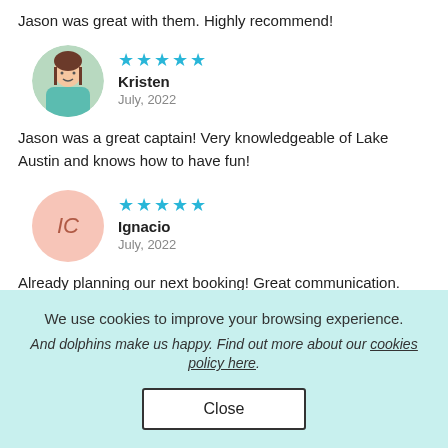Jason was great with them. Highly recommend!
[Figure (photo): Circular avatar photo of Kristen, a woman in a teal patterned outfit outdoors]
★★★★★
Kristen
July, 2022
Jason was a great captain! Very knowledgeable of Lake Austin and knows how to have fun!
[Figure (illustration): Circular avatar with initials IC on pink background for Ignacio]
★★★★★
Ignacio
July, 2022
Already planning our next booking! Great communication.
We use cookies to improve your browsing experience. And dolphins make us happy. Find out more about our cookies policy here.
Close